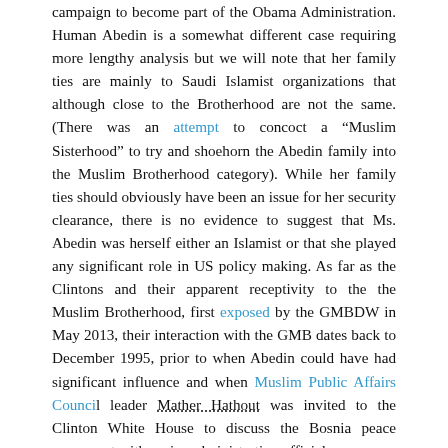campaign to become part of the Obama Administration. Human Abedin is a somewhat different case requiring more lengthy analysis but we will note that her family ties are mainly to Saudi Islamist organizations that although close to the Brotherhood are not the same. (There was an attempt to concoct a “Muslim Sisterhood” to try and shoehorn the Abedin family into the Muslim Brotherhood category). While her family ties should obviously have been an issue for her security clearance, there is no evidence to suggest that Ms. Abedin was herself either an Islamist or that she played any significant role in US policy making. As far as the Clintons and their apparent receptivity to the the Muslim Brotherhood, first exposed by the GMBDW in May 2013, their interaction with the GMB dates back to December 1995, prior to when Abedin could have had significant influence and when Muslim Public Affairs Council leader Mather Hathout was invited to the Clinton White House to discuss the Bosnia peace agreement with senior administration officials.
As part of President Obama’s “Spiritual Cabinet”, it does seem